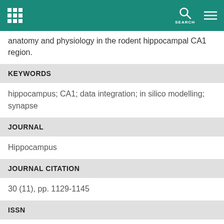anatomy and physiology in the rodent hippocampal CA1 region.
KEYWORDS
hippocampus; CA1; data integration; in silico modelling; synapse
JOURNAL
Hippocampus
JOURNAL CITATION
30 (11), pp. 1129-1145
ISSN
1098-1063
HEAS